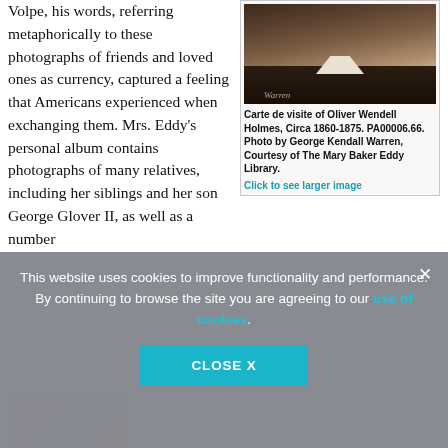Volpe, his words, referring metaphorically to these photographs of friends and loved ones as currency, captured a feeling that Americans experienced when exchanging them. Mrs. Eddy's personal album contains photographs of many relatives, including her siblings and her son George Glover II, as well as a number of...
[Figure (photo): Carte de visite portrait photograph of Oliver Wendell Holmes, showing upper body in formal attire with a handwritten signature below]
Carte de visite of Oliver Wendell Holmes, Circa 1860-1875. PA00006.66. Photo by George Kendall Warren, Courtesy of The Mary Baker Eddy Library. Click to see larger image
This website uses cookies to improve functionality and performance. By continuing to browse the site you are agreeing to our use of cookies.
CLOSE X
Cartes de visite were not just useful for family...